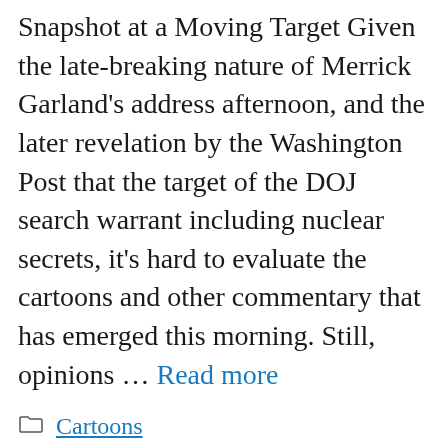Snapshot at a Moving Target Given the late-breaking nature of Merrick Garland's address afternoon, and the later revelation by the Washington Post that the target of the DOJ search warrant including nuclear secrets, it's hard to evaluate the cartoons and other commentary that has emerged this morning. Still, opinions … Read more
Cartoons
animation, Cartoonist, cartoonists, comic pages, comic strips, Daily, editorial cartoonists, funny pages, gag and panel cartoons, graphic novels, magazine cartoonists, moving, newspaper comics, Snapshot, syndication, Target, webcomics